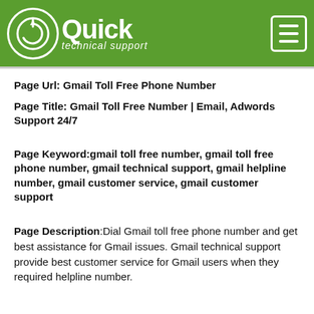Quick technical support
Page Url: Gmail Toll Free Phone Number
Page Title: Gmail Toll Free Number | Email, Adwords Support 24/7
Page Keyword:gmail toll free number, gmail toll free phone number, gmail technical support, gmail helpline number, gmail customer service, gmail customer support
Page Description:Dial Gmail toll free phone number and get best assistance for Gmail issues. Gmail technical support provide best customer service for Gmail users when they required helpline number.